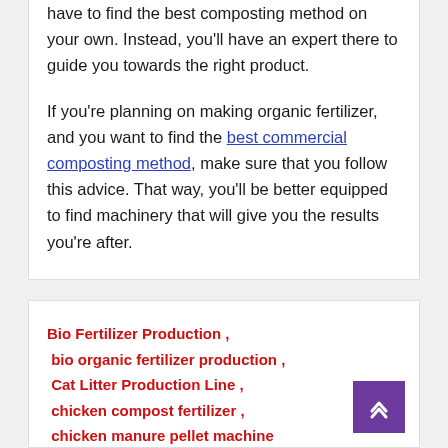have to find the best composting method on your own. Instead, you'll have an expert there to guide you towards the right product.

If you're planning on making organic fertilizer, and you want to find the best commercial composting method, make sure that you follow this advice. That way, you'll be better equipped to find machinery that will give you the results you're after.
Bio Fertilizer Production , bio organic fertilizer production , Cat Litter Production Line , chicken compost fertilizer , chicken manure pellet machine